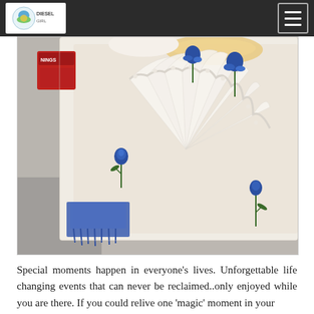[Navigation bar with logo and hamburger menu]
[Figure (photo): Close-up photograph of white embroidered fabric with blue floral (rose) embroidery and a fan-like lace or pleated textile detail in the center. A red object is visible in the upper left corner.]
Special moments happen in everyone's lives. Unforgettable life changing events that can never be reclaimed..only enjoyed while you are there. If you could relive one 'magic' moment in your